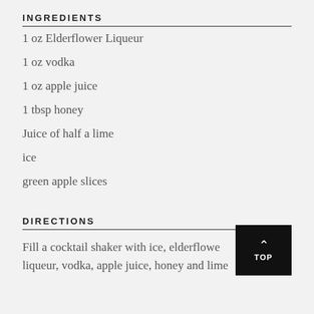INGREDIENTS
1 oz Elderflower Liqueur
1 oz vodka
1 oz apple juice
1 tbsp honey
Juice of half a lime
ice
green apple slices
DIRECTIONS
Fill a cocktail shaker with ice, elderflower liqueur, vodka, apple juice, honey and lime